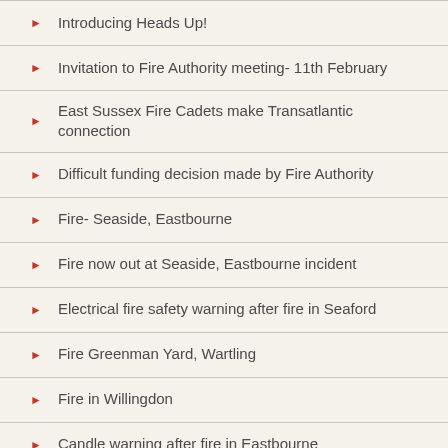Introducing Heads Up!
Invitation to Fire Authority meeting- 11th February
East Sussex Fire Cadets make Transatlantic connection
Difficult funding decision made by Fire Authority
Fire- Seaside, Eastbourne
Fire now out at Seaside, Eastbourne incident
Electrical fire safety warning after fire in Seaford
Fire Greenman Yard, Wartling
Fire in Willingdon
Candle warning after fire in Eastbourne